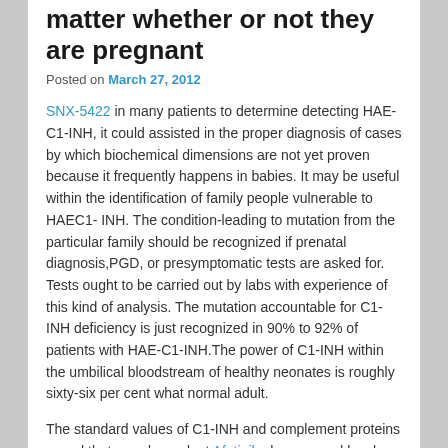matter whether or not they are pregnant
Posted on March 27, 2012
SNX-5422 in many patients to determine detecting HAE-C1-INH, it could assisted in the proper diagnosis of cases by which biochemical dimensions are not yet proven because it frequently happens in babies. It may be useful within the identification of family people vulnerable to HAEC1- INH. The condition-leading to mutation from the particular family should be recognized if prenatal diagnosis,PGD, or presymptomatic tests are asked for. Tests ought to be carried out by labs with experience of this kind of analysis. The mutation accountable for C1-INH deficiency is just recognized in 90% to 92% of patients with HAE-C1-INH.The power of C1-INH within the umbilical bloodstream of healthy neonates is roughly sixty-six per cent what normal adult.
The standard values of C1-INH and complement proteins reveal that age-dependent Afatinib changes and levels